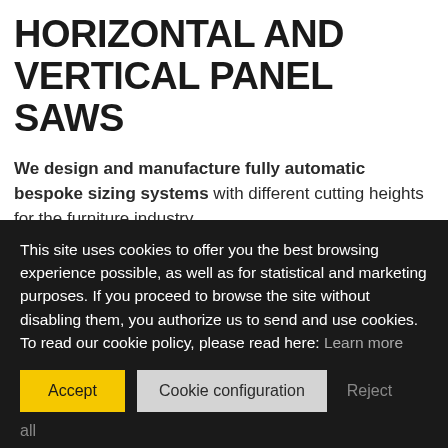HORIZONTAL AND VERTICAL PANEL SAWS
We design and manufacture fully automatic bespoke sizing systems with different cutting heights for the furniture industry.
Our Sezionatrici orizzontali are ideal for processing all materials:
wood panels but also for cutting aluminum, plastic and fiber cement.
Specialized in computerized sizing machines with particular solutions
This site uses cookies to offer you the best browsing experience possible, as well as for statistical and marketing purposes. If you proceed to browse the site without disabling them, you authorize us to send and use cookies. To read our cookie policy, please read here: Learn more
Accept | Cookie configuration | Reject all